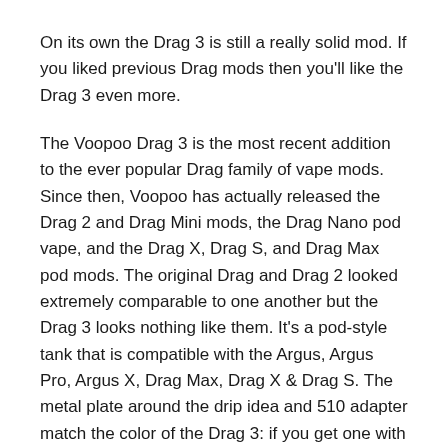On its own the Drag 3 is still a really solid mod. If you liked previous Drag mods then you'll like the Drag 3 even more.
The Voopoo Drag 3 is the most recent addition to the ever popular Drag family of vape mods. Since then, Voopoo has actually released the Drag 2 and Drag Mini mods, the Drag Nano pod vape, and the Drag X, Drag S, and Drag Max pod mods. The original Drag and Drag 2 looked extremely comparable to one another but the Drag 3 looks nothing like them. It's a pod-style tank that is compatible with the Argus, Argus Pro, Argus X, Drag Max, Drag X & Drag S. The metal plate around the drip idea and 510 adapter match the color of the Drag 3: if you get one with a silver frame it will be silver, if your Drag 3 has a black frame then it will be black.